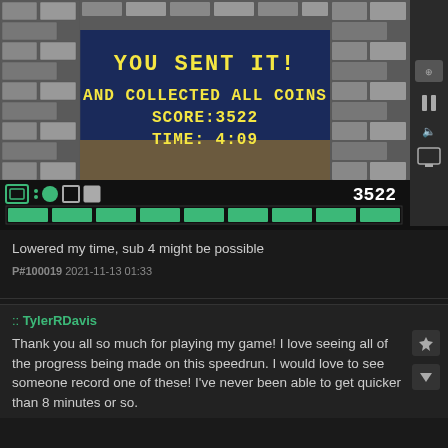[Figure (screenshot): Pixel art video game screenshot showing end-level screen with text: YOU SENT IT! AND COLLECTED ALL COINS SCORE:3522 TIME: 4:09. Game HUD shows icons, score 3522, and green health/progress bar at bottom.]
Lowered my time, sub 4 might be possible
P#100019 2021-11-13 01:33
:: TylerRDavis
Thank you all so much for playing my game! I love seeing all of the progress being made on this speedrun. I would love to see someone record one of these! I've never been able to get quicker than 8 minutes or so.